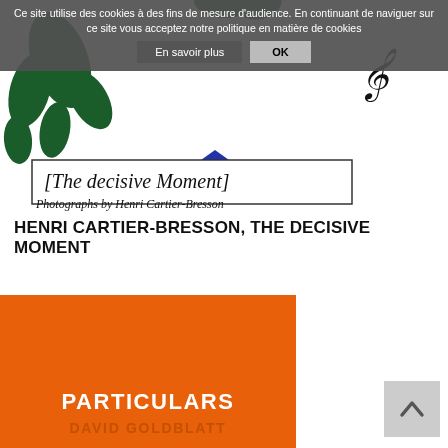Ce site utilise des cookies à des fins de mesure d'audience. En continuant de naviguer sur ce site vous acceptez notre politique en matière de cookies
En savoir plus | OK
[Figure (illustration): Book cover for 'The Decisive Moment – Photographs by Henri Cartier-Bresson' showing hand-drawn typography and decorative plant/leaf motifs in dark green, with a blue diamond shape, on white background.]
HENRI CARTIER-BRESSON, THE DECISIVE MOMENT
[Figure (illustration): Orange book cover with white text reading 'PARTICULARS' and partially visible text 'DAVID GOLDBLATT' below, with a scroll-to-top button in grey on the right.]